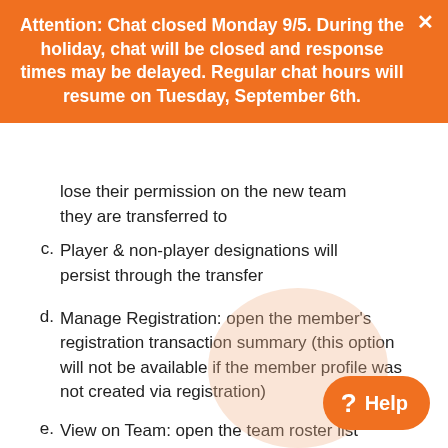Attention: Chat closed Monday 9/5. During the holiday, chat will be closed and response times may be delayed. Regular chat hours will resume on Tuesday, September 6th.
lose their permission on the new team they are transferred to
c. Player & non-player designations will persist through the transfer
d. Manage Registration: open the member's registration transaction summary (this option will not be available if the member profile was not created via registration)
e. View on Team: open the team roster list where that profile is located
f. Delete: remove the roster profile f… (Warning - this is permanent!!!)